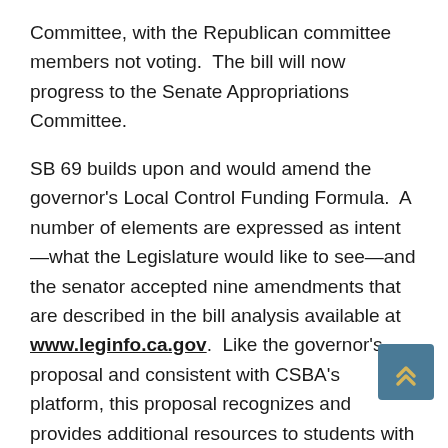Committee, with the Republican committee members not voting.  The bill will now progress to the Senate Appropriations Committee.
SB 69 builds upon and would amend the governor's Local Control Funding Formula.  A number of elements are expressed as intent—what the Legislature would like to see—and the senator accepted nine amendments that are described in the bill analysis available at www.leginfo.ca.gov.  Like the governor's proposal and consistent with CSBA's platform, this proposal recognizes and provides additional resources to students with greater challenges: English-